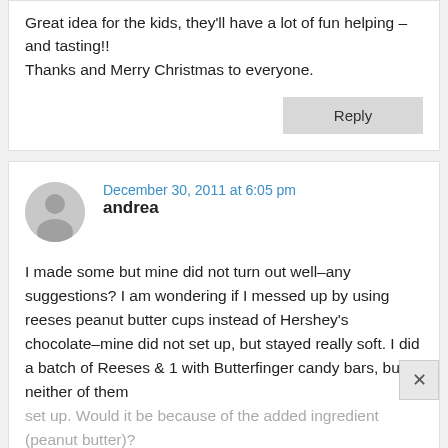Great idea for the kids, they'll have a lot of fun helping – and tasting!!
Thanks and Merry Christmas to everyone.
Reply
andrea
December 30, 2011 at 6:05 pm
I made some but mine did not turn out well–any suggestions? I am wondering if I messed up by using reeses peanut butter cups instead of Hershey's chocolate–mine did not set up, but stayed really soft. I did a batch of Reeses & 1 with Butterfinger candy bars, but neither of them set up. Would it be because of the added ingredient (peanut butter)?